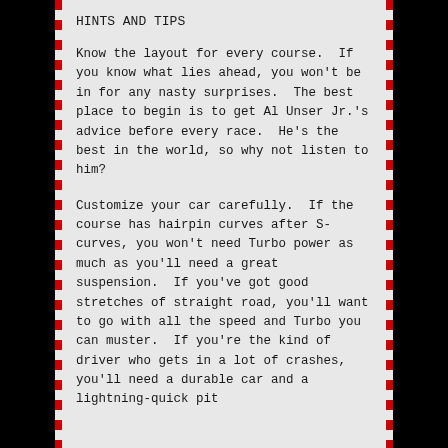HINTS AND TIPS
Know the layout for every course.  If you know what lies ahead, you won't be in for any nasty surprises.  The best place to begin is to get Al Unser Jr.'s advice before every race.  He's the best in the world, so why not listen to him?
Customize your car carefully.  If the course has hairpin curves after S-curves, you won't need Turbo power as much as you'll need a great suspension.  If you've got good stretches of straight road, you'll want to go with all the speed and Turbo you can muster.  If you're the kind of driver who gets in a lot of crashes, you'll need a durable car and a lightning-quick pit